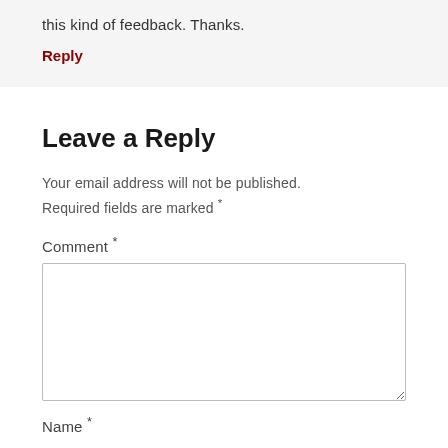this kind of feedback. Thanks.
Reply
Leave a Reply
Your email address will not be published. Required fields are marked *
Comment *
Name *